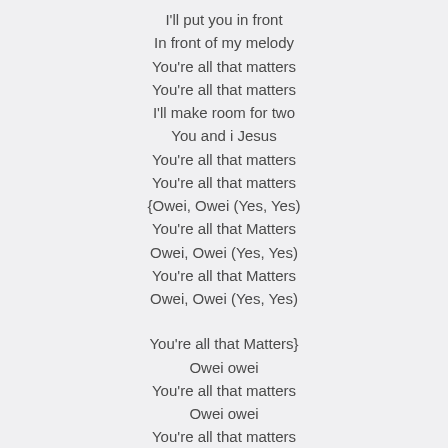I'll put you in front
In front of my melody
You're all that matters
You're all that matters
I'll make room for two
You and i Jesus
You're all that matters
You're all that matters
{Owei, Owei (Yes, Yes)
You're all that Matters
Owei, Owei (Yes, Yes)
You're all that Matters
Owei, Owei (Yes, Yes)

You're all that Matters}
Owei owei
You're all that matters
Owei owei
You're all that matters